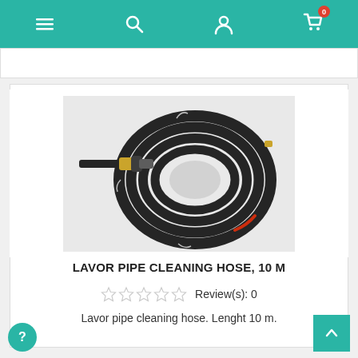Navigation bar with menu, search, account, and cart icons
[Figure (photo): Coiled black high-pressure pipe cleaning hose, 10 meters, with brass fittings on both ends, bundled with wire ties, on white background]
LAVOR PIPE CLEANING HOSE, 10 M
Review(s): 0
Lavor pipe cleaning hose. Lenght 10 m.